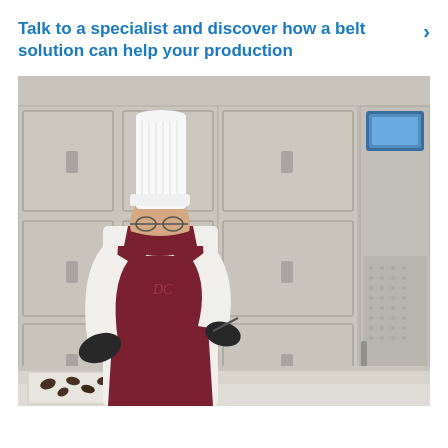Talk to a specialist and discover how a belt solution can help your production
[Figure (photo): A chef wearing a white tall hat, white chef's jacket, dark red apron, dark red face mask, and black gloves, working at a counter with chocolate pieces on a tray. Behind the chef are large grey industrial refrigeration or proofing cabinet units with multiple compartments and handles, and a blue digital display panel on the upper right. The setting appears to be a professional pastry or food production kitchen.]